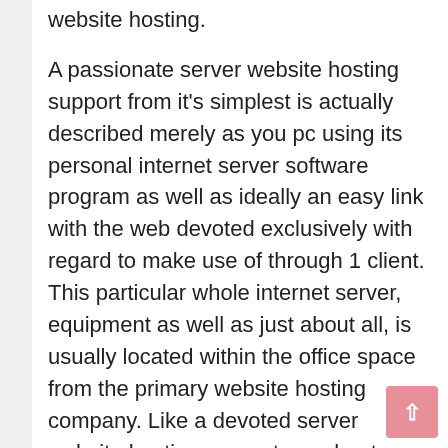website hosting. A passionate server website hosting support from it's simplest is actually described merely as you pc using its personal internet server software program as well as ideally an easy link with the web devoted exclusively with regard to make use of through 1 client. This particular whole internet server, equipment as well as just about all, is usually located within the office space from the primary website hosting company. Like a devoted server website hosting support merchant, you don't have to possess and gaze after this particular gear. Rather a person enter a good agreement using the main hosting company by which a person market a passionate internet server bundle for